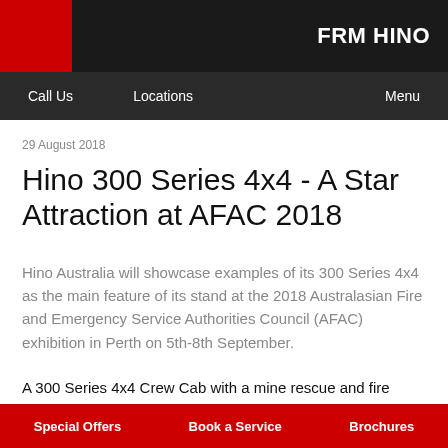FRM HINO
Call Us   Locations   Menu
29 August 2018
Hino 300 Series 4x4 - A Star Attraction at AFAC 2018
Hino Australia will showcase examples of its 300 Series 4x4 as the main feature of its stand at the 2018 Australasian Fire and Emergency Service Authorities Council (AFAC) exhibition in Perth on 5th-8th September.
A 300 Series 4x4 Crew Cab with a mine rescue and fire body
Special Offers   Book a Service   Brochures